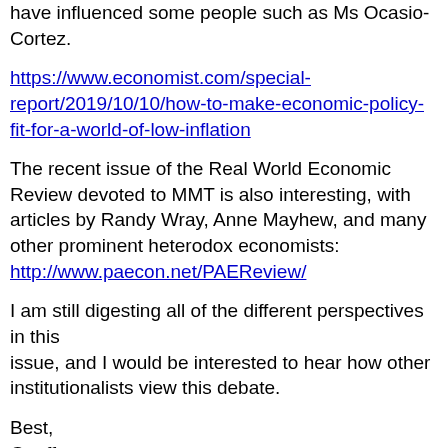have influenced some people such as Ms Ocasio-Cortez.
https://www.economist.com/special-report/2019/10/10/how-to-make-economic-policy-fit-for-a-world-of-low-inflation
The recent issue of the Real World Economic Review devoted to MMT is also interesting, with articles by Randy Wray, Anne Mayhew, and many other prominent heterodox economists: http://www.paecon.net/PAEReview/
I am still digesting all of the different perspectives in this issue, and I would be interested to hear how other institutionalists view this debate.
Best,
Geoff
Geoff Schneider